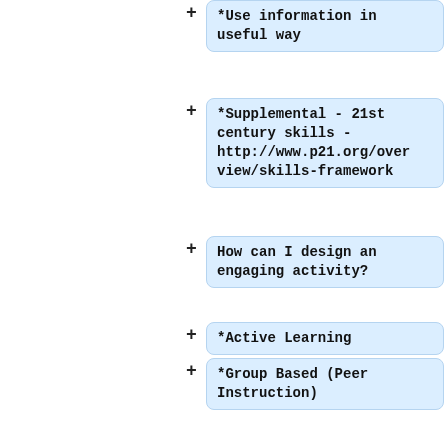*Use information in useful way
*Supplemental - 21st century skills - http://www.p21.org/overview/skills-framework
How can I design an engaging activity?
*Active Learning
*Group Based (Peer Instruction)
*Problem (Inquiry) Based
*Supplemental - Active Learning Ideas - http://www.calstatela.edu/dept/chem/chem2/Active/main.htm